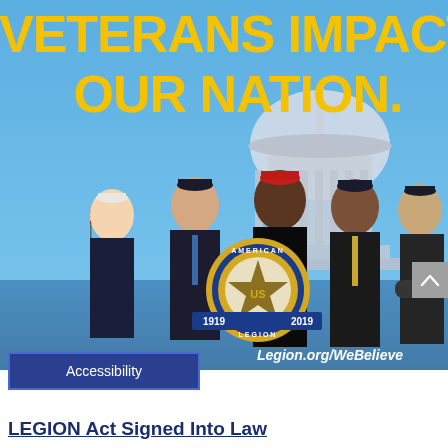[Figure (photo): American Legion promotional banner showing five veterans in uniform/formal wear standing in front of the US Capitol building, with bold yellow text reading 'VETERANS IMPACT OUR NATION.' and the American Legion centennial logo (1919-2019) in the lower center. URL 'Legion.org/WeBelieve' shown at the bottom of the image.]
Accessibility
LEGION Act Signed Into Law